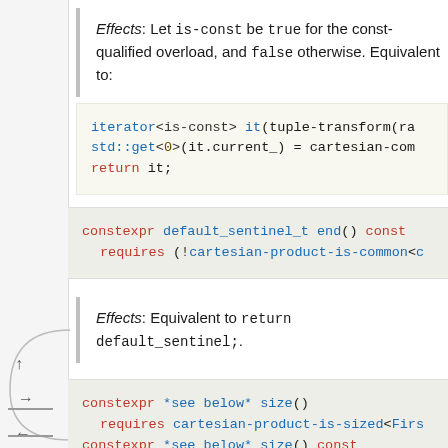Effects: Let is-const be true for the const-qualified overload, and false otherwise. Equivalent to:
iterator<is-const> it(tuple-transform(ra
std::get<0>(it.current_) = cartesian-com
return it;
constexpr default_sentinel_t end() const
  requires (!cartesian-product-is-common<c
Effects: Equivalent to return default_sentinel;.
constexpr *see below* size()
  requires cartesian-product-is-sized<Firs
constexpr *see below* size() const